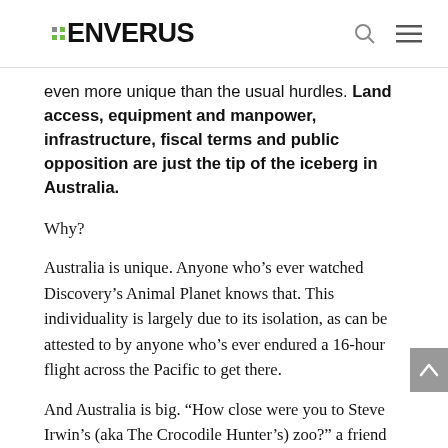ENVERUS
even more unique than the usual hurdles. Land access, equipment and manpower, infrastructure, fiscal terms and public opposition are just the tip of the iceberg in Australia.
Why?
Australia is unique. Anyone who’s ever watched Discovery’s Animal Planet knows that. This individuality is largely due to its isolation, as can be attested to by anyone who’s ever endured a 16-hour flight across the Pacific to get there.
And Australia is big. “How close were you to Steve Irwin’s (aka The Crocodile Hunter’s) zoo?” a friend asked upon my return from Perth